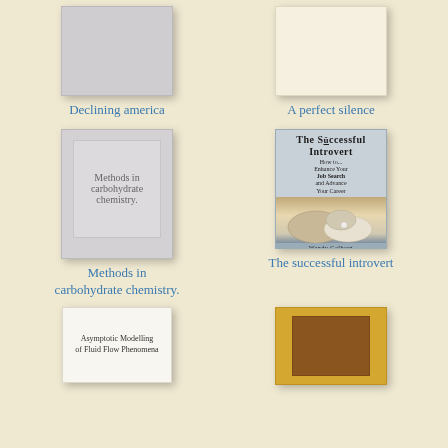[Figure (illustration): Book cover placeholder - plain gray/light colored cover for 'Declining america']
Declining america
[Figure (illustration): Book cover placeholder - plain cream/off-white colored cover for 'A perfect silence']
A perfect silence
[Figure (illustration): Book cover for 'Methods in carbohydrate chemistry' - gray cover with text]
Methods in carbohydrate chemistry.
[Figure (illustration): Book cover for 'The successful introvert' by Wendy Gelberg - shows oyster with pearl]
The successful introvert
[Figure (illustration): Book cover for 'Asymptotic Modelling of Fluid Flow Phenomena' - light colored cover with text]
[Figure (illustration): Book cover - gold/brown colored cover, partially visible]